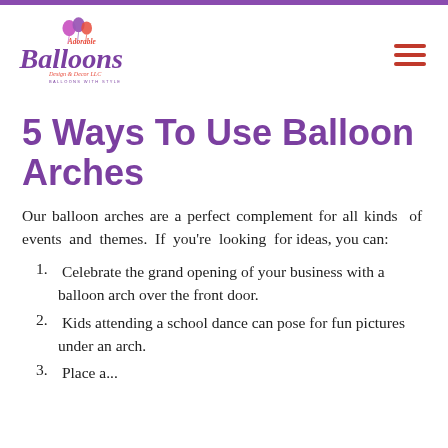[Figure (logo): Adorable Balloons Design & Decor LLC logo with purple balloon lettering and tagline 'Balloons With Style']
5 Ways To Use Balloon Arches
Our balloon arches are a perfect complement for all kinds of events and themes. If you're looking for ideas, you can:
Celebrate the grand opening of your business with a balloon arch over the front door.
Kids attending a school dance can pose for fun pictures under an arch.
Place a...